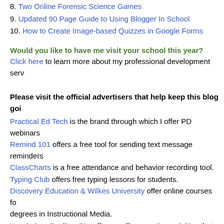8. Two Online Forensic Science Games
9. Updated 90 Page Guide to Using Blogger In School
10. How to Create Image-based Quizzes in Google Forms
Would you like to have me visit your school this year?
Click here to learn more about my professional development serv
Please visit the official advertisers that help keep this blog goi
Practical Ed Tech is the brand through which I offer PD webinars
Remind 101 offers a free tool for sending text message reminders
ClassCharts is a free attendance and behavior recording tool.
Typing Club offers free typing lessons for students.
Discovery Education & Wilkes University offer online courses fo degrees in Instructional Media.
Vocabulary Spelling City offers spelling practice activities that yo
MasteryConnect provides a network for teachers to share and dis assessments.
ABCya.com is a provider of free educational games for K-5.
The University of Maryland Baltimore County offers graduate pr
Boise State University offers a 100% online program in educatio